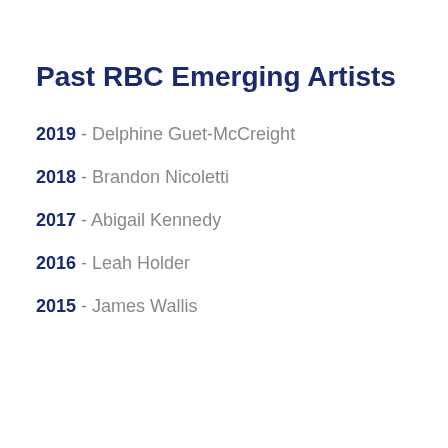Past RBC Emerging Artists
2019 - Delphine Guet-McCreight
2018 - Brandon Nicoletti
2017 - Abigail Kennedy
2016 - Leah Holder
2015 - James Wallis